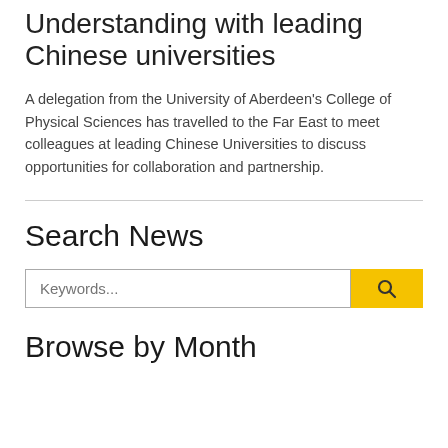Understanding with leading Chinese universities
A delegation from the University of Aberdeen's College of Physical Sciences has travelled to the Far East to meet colleagues at leading Chinese Universities to discuss opportunities for collaboration and partnership.
Search News
Browse by Month